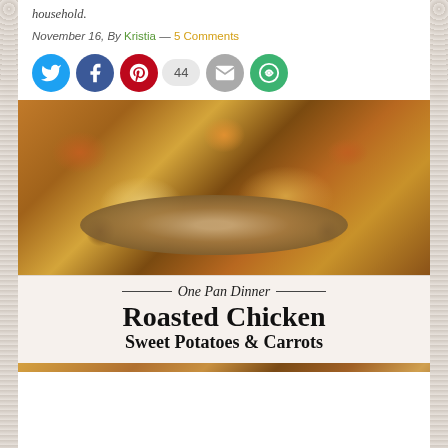household.
November 16, By Kristia — 5 Comments
[Figure (infographic): Social media sharing icons: Twitter (blue circle), Facebook (dark blue circle), Pinterest (red circle) with count 44, Email (grey circle), and a green circle with circular arrows icon]
[Figure (photo): Roasted chicken pieces with sweet potatoes and carrots on a baking pan, with title overlay text reading 'One Pan Dinner - Roasted Chicken Sweet Potatoes & Carrots']
One Pan Dinner — Roasted Chicken Sweet Potatoes & Carrots